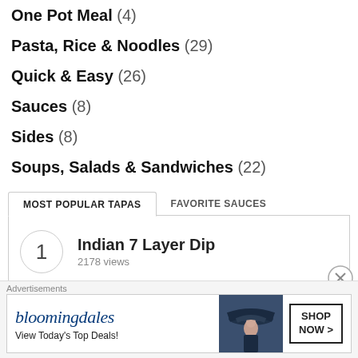One Pot Meal (4)
Pasta, Rice & Noodles (29)
Quick & Easy (26)
Sauces (8)
Sides (8)
Soups, Salads & Sandwiches (22)
MOST POPULAR TAPAS | FAVORITE SAUCES
1 Indian 7 Layer Dip 2178 views
Advertisements
[Figure (other): Bloomingdale's advertisement banner: logo text, 'View Today's Top Deals!', image of woman with hat, SHOP NOW button]